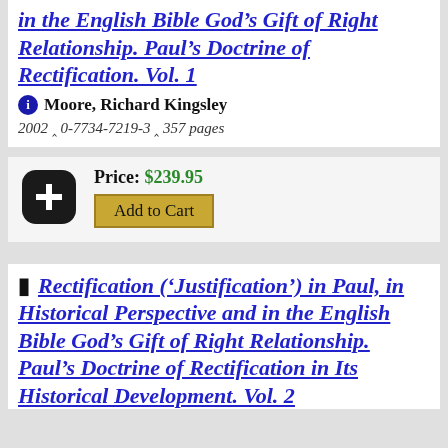in the English Bible God's Gift of Right Relationship. Paul's Doctrine of Rectification. Vol. 1
Moore, Richard Kingsley
2002 ^ 0-7734-7219-3 ^ 357 pages
Price: $239.95
Add to Cart
Rectification ('Justification') in Paul, in Historical Perspective and in the English Bible God's Gift of Right Relationship. Paul's Doctrine of Rectification in Its Historical Development. Vol. 2